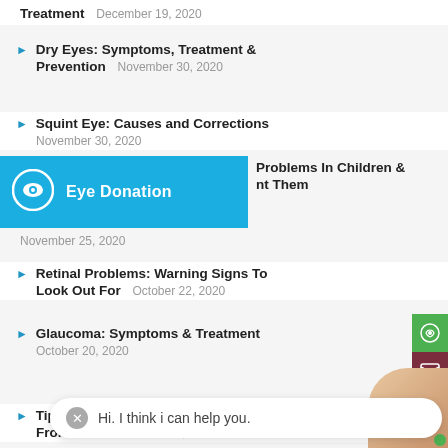Treatment  December 19, 2020
Dry Eyes: Symptoms, Treatment & Prevention  November 30, 2020
Squint Eye: Causes and Corrections  November 30, 2020
Problems In Children & [Prevent] Them  November 25, 2020
[Figure (infographic): Blue banner with eye icon and text 'Eye Donation']
Retinal Problems: Warning Signs To Look Out For  October 22, 2020
Glaucoma: Symptoms & Treatment  October 20, 2020
Tips t[o Protect Your Eyes] From Home  October 20, 2020
Hi. I think i can help you.